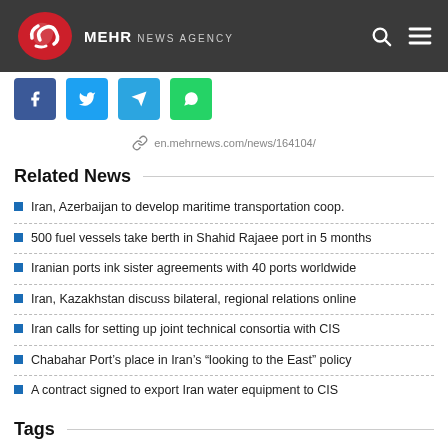MEHR NEWS AGENCY
[Figure (logo): Mehr News Agency logo with red stylized graphic and text on dark bar]
en.mehrnews.com/news/164104/
Related News
Iran, Azerbaijan to develop maritime transportation coop.
500 fuel vessels take berth in Shahid Rajaee port in 5 months
Iranian ports ink sister agreements with 40 ports worldwide
Iran, Kazakhstan discuss bilateral, regional relations online
Iran calls for setting up joint technical consortia with CIS
Chabahar Port’s place in Iran’s “looking to the East” policy
A contract signed to export Iran water equipment to CIS
Tags